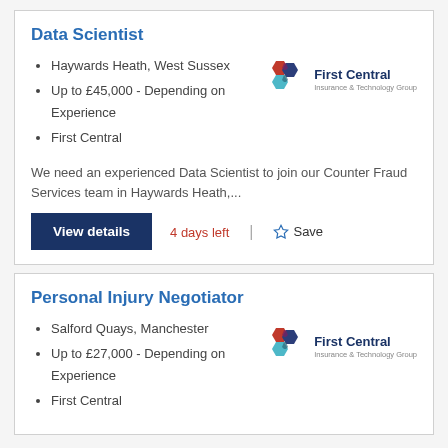Data Scientist
Haywards Heath, West Sussex
Up to £45,000 - Depending on Experience
First Central
[Figure (logo): First Central Insurance & Technology Group logo]
We need an experienced Data Scientist to join our Counter Fraud Services team in Haywards Heath,...
View details
4 days left
Save
Personal Injury Negotiator
Salford Quays, Manchester
Up to £27,000 - Depending on Experience
First Central
[Figure (logo): First Central Insurance & Technology Group logo]